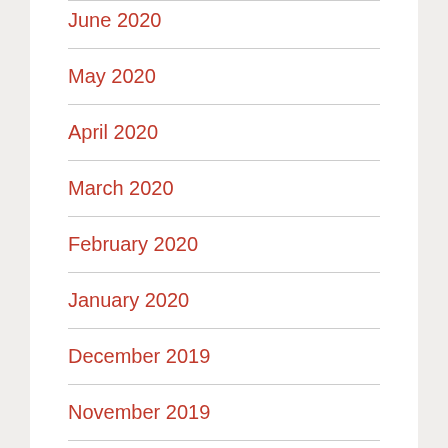June 2020
May 2020
April 2020
March 2020
February 2020
January 2020
December 2019
November 2019
October 2019
September 2019